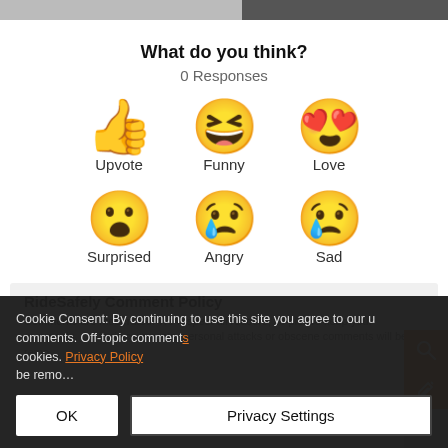[Figure (screenshot): Two cropped images at top: left is gray/white thumbnail, right is dark/person thumbnail]
What do you think?
0 Responses
[Figure (infographic): Six emoji reaction buttons arranged in two rows: Upvote (thumbs up), Funny (laughing face with tongue), Love (heart eyes); Surprised (shocked face), Angry (crying face), Sad (sad face with tear)]
RideSafely Comment Policy
Cookie Consent: By continuing to use this site you agree to our use of cookies. Off-topic comments, personal attacks or obscene comments will be removed.
Privacy Policy